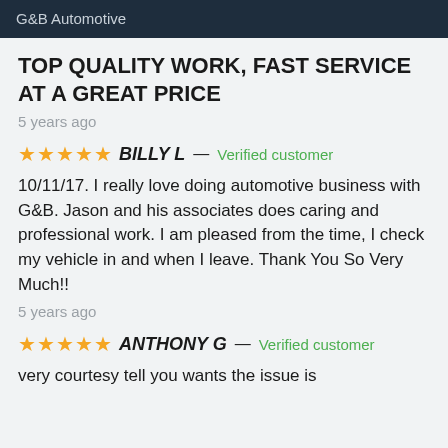G&B Automotive
TOP QUALITY WORK, FAST SERVICE AT A GREAT PRICE
5 years ago
★★★★★ BILLY L — Verified customer
10/11/17. I really love doing automotive business with G&B. Jason and his associates does caring and professional work. I am pleased from the time, I check my vehicle in and when I leave. Thank You So Very Much!!
5 years ago
★★★★★ ANTHONY G — Verified customer
very courtesy tell you wants the issue is